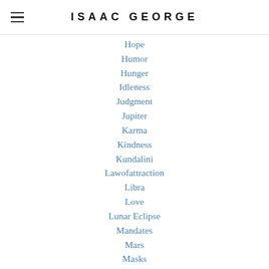ISAAC GEORGE
Hope
Humor
Hunger
Idleness
Judgment
Jupiter
Karma
Kindness
Kundalini
Lawofattraction
Libra
Love
Lunar Eclipse
Mandates
Mars
Masks
Mastery
Matrix
Meditation